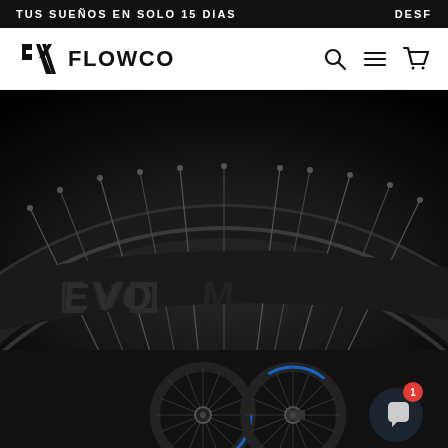TUS SUEÑOS EN SOLO 15 DIAS    DESF
[Figure (logo): Flowco brand logo with stylized F icon and FLOWCO text]
[Figure (photo): Close-up of a black carbon bicycle wheel rim with spokes and EVO/brand text embossed on the rim surface]
[Figure (photo): Two black bicycle wheels with blue accent on rim, small front view, bottom of page. Chat bubble with notification badge showing 1 in lower right corner.]